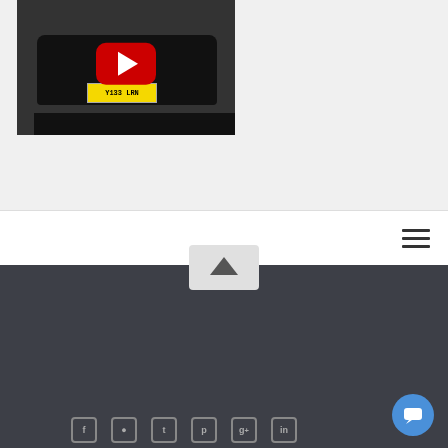[Figure (screenshot): YouTube video thumbnail showing a black car with license plate Y133 LRN and a red YouTube play button overlay]
[Figure (screenshot): Navigation bar with hamburger menu icon on the right]
[Figure (logo): Golden Krone Transylvania Travel logo with black, white, and red stripes and italic Travel text]
Copyright © All Rights Reserved The Golden Krone Transylvania Travel
Web design: RefreshSite Bistrita